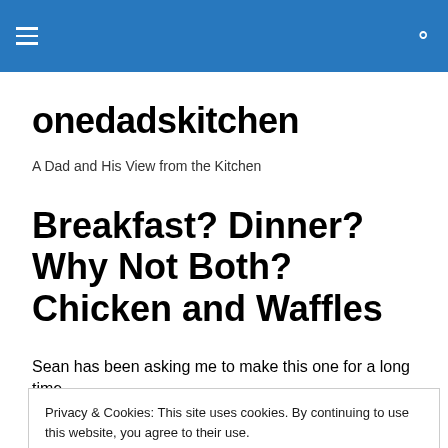onedadskitchen — site navigation header with hamburger menu and search icon
onedadskitchen
A Dad and His View from the Kitchen
Breakfast? Dinner? Why Not Both? Chicken and Waffles
Sean has been asking me to make this one for a long time
Privacy & Cookies: This site uses cookies. By continuing to use this website, you agree to their use.
To find out more, including how to control cookies, see here: Cookie Policy
You could simply just take your favorite fried chicken